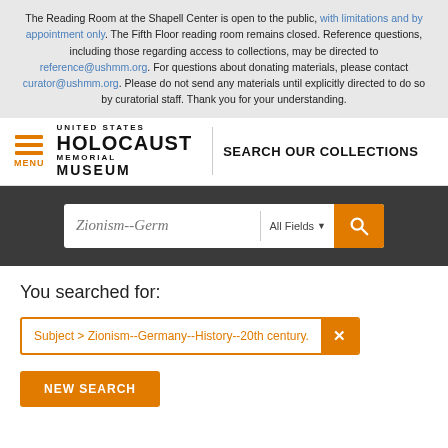The Reading Room at the Shapell Center is open to the public, with limitations and by appointment only. The Fifth Floor reading room remains closed. Reference questions, including those regarding access to collections, may be directed to reference@ushmm.org. For questions about donating materials, please contact curator@ushmm.org. Please do not send any materials until explicitly directed to do so by curatorial staff. Thank you for your understanding.
[Figure (logo): United States Holocaust Memorial Museum logo with hamburger menu icon and MENU label, followed by SEARCH OUR COLLECTIONS text]
[Figure (screenshot): Search bar with text 'Zionism--Germ' and 'All Fields' dropdown selector and orange search button]
You searched for:
Subject > Zionism--Germany--History--20th century.
NEW SEARCH